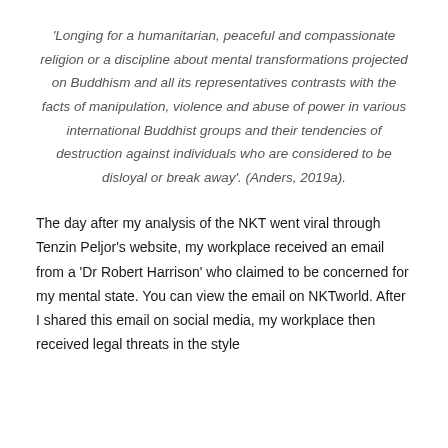'Longing for a humanitarian, peaceful and compassionate religion or a discipline about mental transformations projected on Buddhism and all its representatives contrasts with the facts of manipulation, violence and abuse of power in various international Buddhist groups and their tendencies of destruction against individuals who are considered to be disloyal or break away'. (Anders, 2019a).
The day after my analysis of the NKT went viral through Tenzin Peljor's website, my workplace received an email from a 'Dr Robert Harrison' who claimed to be concerned for my mental state. You can view the email on NKTworld. After I shared this email on social media, my workplace then received legal threats in the style